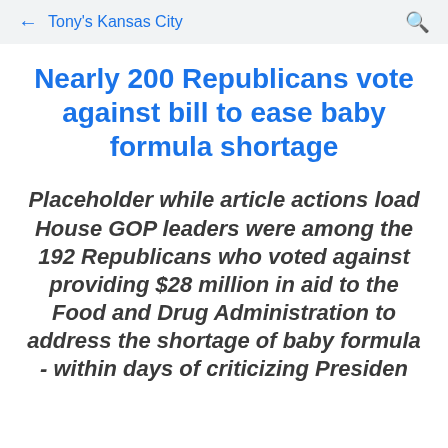← Tony's Kansas City 🔍
Nearly 200 Republicans vote against bill to ease baby formula shortage
Placeholder while article actions load House GOP leaders were among the 192 Republicans who voted against providing $28 million in aid to the Food and Drug Administration to address the shortage of baby formula - within days of criticizing President